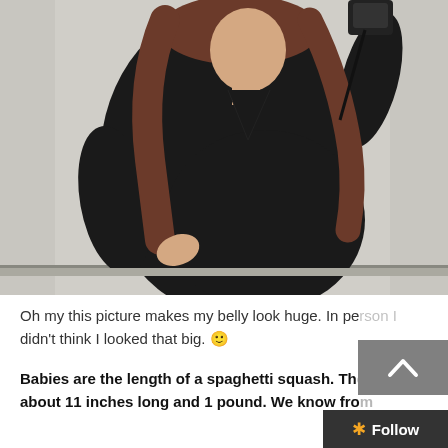[Figure (photo): A pregnant woman in a black long-sleeve top taking a mirror selfie, showing her baby bump from the side. She has long brown hair and holds a camera. The background shows a white/grey door or wall.]
Oh my this picture makes my belly look huge. In person I didn't think I looked that big. 🙂
Babies are the length of a spaghetti squash. They are about 11 inches long and 1 pound. We know from